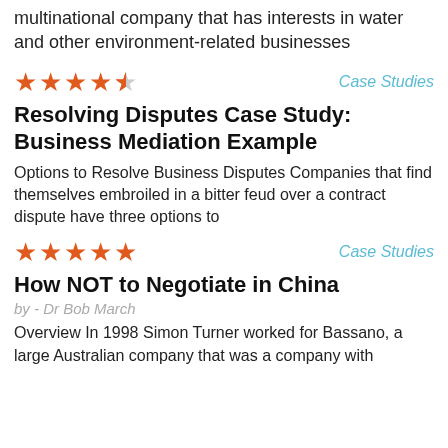multinational company that has interests in water and other environment-related businesses
[Figure (other): 4.5 out of 5 stars rating (4 full stars and 1 half star, orange)]
Case Studies
Resolving Disputes Case Study: Business Mediation Example
Options to Resolve Business Disputes Companies that find themselves embroiled in a bitter feud over a contract dispute have three options to
[Figure (other): 5 out of 5 stars rating (5 full stars, orange)]
Case Studies
How NOT to Negotiate in China
by - Dr Bob March
Overview In 1998 Simon Turner worked for Bassano, a large Australian company that was a company with